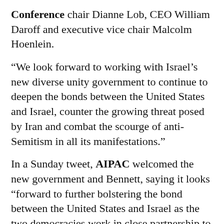Conference chair Dianne Lob, CEO William Daroff and executive vice chair Malcolm Hoenlein.
“We look forward to working with Israel’s new diverse unity government to continue to deepen the bonds between the United States and Israel, counter the growing threat posed by Iran and combat the scourge of anti-Semitism in all its manifestations.”
In a Sunday tweet, AIPAC welcomed the new government and Bennett, saying it looks “forward to further bolstering the bond between the United States and Israel as the two democracies work in close partnership to advance our shared interests and values.”
Jonah Cohen, CAMERA’s communications director, said “the democratic nation of Israel is a sharp contrast to the theocracy in the Gaza Strip under